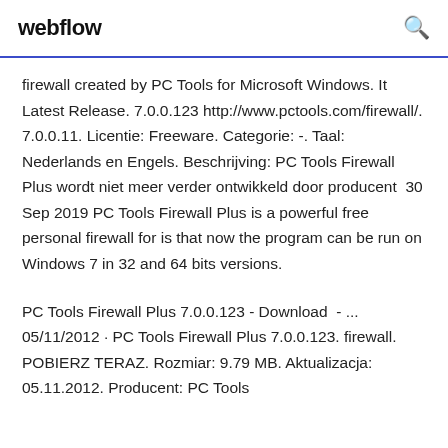webflow
firewall created by PC Tools for Microsoft Windows. It Latest Release. 7.0.0.123 http://www.pctools.com/firewall/. 7.0.0.11. Licentie: Freeware. Categorie: -. Taal: Nederlands en Engels. Beschrijving: PC Tools Firewall Plus wordt niet meer verder ontwikkeld door producent  30 Sep 2019 PC Tools Firewall Plus is a powerful free personal firewall for is that now the program can be run on Windows 7 in 32 and 64 bits versions.
PC Tools Firewall Plus 7.0.0.123 - Download  - ... 05/11/2012 · PC Tools Firewall Plus 7.0.0.123. firewall. POBIERZ TERAZ. Rozmiar: 9.79 MB. Aktualizacja: 05.11.2012. Producent: PC Tools